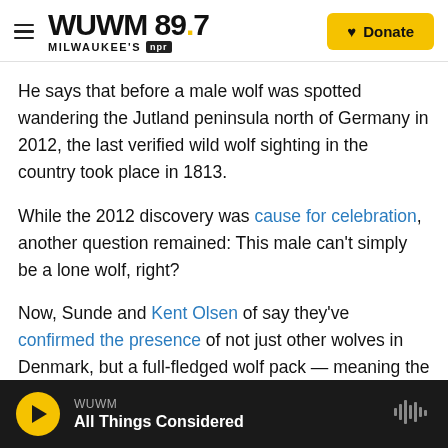WUWM 89.7 MILWAUKEE'S NPR | Donate
He says that before a male wolf was spotted wandering the Jutland peninsula north of Germany in 2012, the last verified wild wolf sighting in the country took place in 1813.
While the 2012 discovery was cause for celebration, another question remained: This male can't simply be a lone wolf, right?
Now, Sunde and Kent Olsen of say they've confirmed the presence of not just other wolves in Denmark, but a full-fledged wolf pack — meaning the group has a she-wolf in its midst, as well.
WUWM | All Things Considered